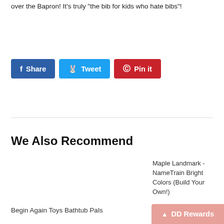over the Bapron!  It's truly "the bib for kids who hate bibs"!
[Figure (other): Social sharing buttons: Facebook Share, Twitter Tweet, Pinterest Pin it]
We Also Recommend
Maple Landmark - NameTrain Bright Colors (Build Your Own!)
$5.25
Begin Again Toys Bathtub Pals
[Figure (other): DD Rewards button in bottom right corner]